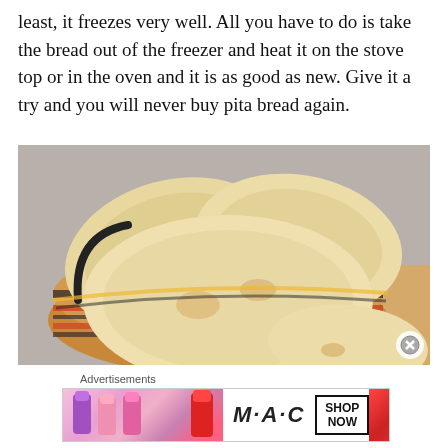least, it freezes very well. All you have to do is take the bread out of the freezer and heat it on the stove top or in the oven and it is as good as new. Give it a try and you will never buy pita bread again.
[Figure (photo): Photo of homemade pita breads in a woven colorful basket on a wooden surface, with additional pita bread visible outside the basket in the foreground]
Advertisements
[Figure (photo): MAC cosmetics advertisement banner showing lipsticks in purple, pink, and red colors alongside the MAC logo and a 'SHOP NOW' box]